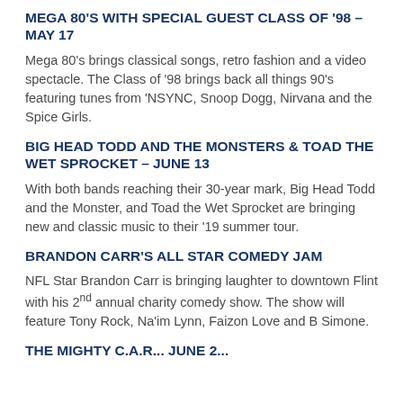MEGA 80'S WITH SPECIAL GUEST CLASS OF '98 – MAY 17
Mega 80's brings classical songs, retro fashion and a video spectacle. The Class of '98 brings back all things 90's featuring tunes from 'NSYNC, Snoop Dogg, Nirvana and the Spice Girls.
BIG HEAD TODD AND THE MONSTERS & TOAD THE WET SPROCKET – JUNE 13
With both bands reaching their 30-year mark, Big Head Todd and the Monster, and Toad the Wet Sprocket are bringing new and classic music to their '19 summer tour.
BRANDON CARR'S ALL STAR COMEDY JAM
NFL Star Brandon Carr is bringing laughter to downtown Flint with his 2nd annual charity comedy show. The show will feature Tony Rock, Na'im Lynn, Faizon Love and B Simone.
THE MIGHTY C.A.R... JUNE 2...